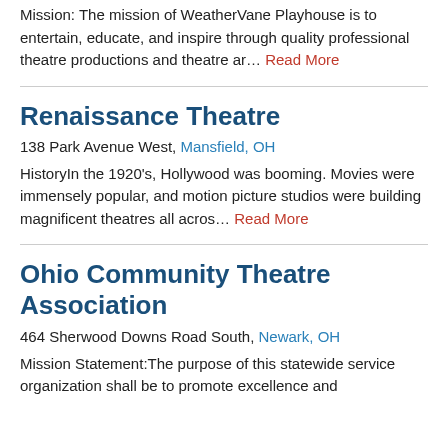Mission: The mission of WeatherVane Playhouse is to entertain, educate, and inspire through quality professional theatre productions and theatre ar… Read More
Renaissance Theatre
138 Park Avenue West, Mansfield, OH
HistoryIn the 1920's, Hollywood was booming. Movies were immensely popular, and motion picture studios were building magnificent theatres all acros… Read More
Ohio Community Theatre Association
464 Sherwood Downs Road South, Newark, OH
Mission Statement:The purpose of this statewide service organization shall be to promote excellence and